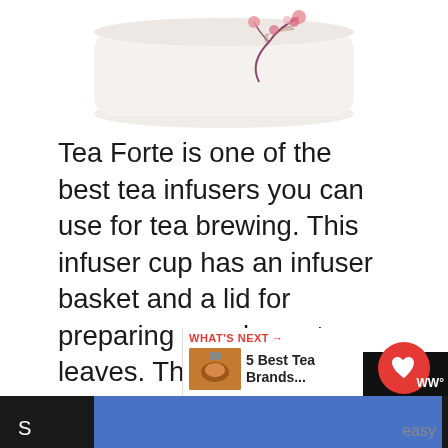[Figure (photo): Partial view of a white ceramic Tea Forte infuser cup with pink cherry blossom floral decoration on the side, cropped at the top of the page.]
Tea Forte is one of the best tea infusers you can use for tea brewing. This infuser cup has an infuser basket and a lid for preparing your loose tea leaves. The body of Tea Forte is made of double-walled ceramic, while the infuser basket is made of stainless steel. The ceramic wall is durable and will not chip or crack. When you brew tea in it, be rest assured that your tea will maintain its temperature for a considerable peri... because of its double-walled structure. As for the infuser basket, it is inbuilt and sturdy
[Figure (screenshot): WHAT'S NEXT panel showing: '5 Best Tea Brands...' with a thumbnail image of tea, a red heart button, and a share button.]
[Figure (screenshot): Bottom advertisement bar with blue background and WW logo, partial text 'S' on left and 'easy' on right.]